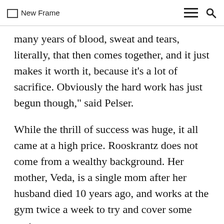New Frame
many years of blood, sweat and tears, literally, that then comes together, and it just makes it worth it, because it’s a lot of sacrifice. Obviously the hard work has just begun though,” said Pelser.
While the thrill of success was huge, it all came at a high price. Rooskrantz does not come from a wealthy background. Her mother, Veda, is a single mom after her husband died 10 years ago, and works at the gym twice a week to try and cover some costs.